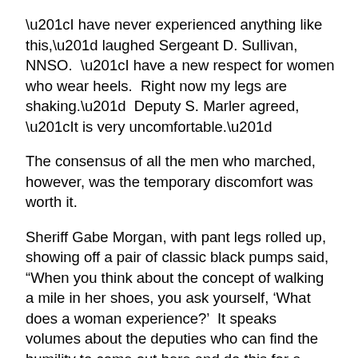“I have never experienced anything like this,” laughed Sergeant D. Sullivan, NNSO.  “I have a new respect for women who wear heels.  Right now my legs are shaking.”  Deputy S. Marler agreed, “It is very uncomfortable.”
The consensus of all the men who marched, however, was the temporary discomfort was worth it.
Sheriff Gabe Morgan, with pant legs rolled up, showing off a pair of classic black pumps said, “When you think about the concept of walking a mile in her shoes, you ask yourself, ‘What does a woman experience?’  It speaks volumes about the deputies who can find the humility to come out here and do this for a worthy cause.”
There were walkers from Christopher Newport University, CSB (Community Services Board), civic